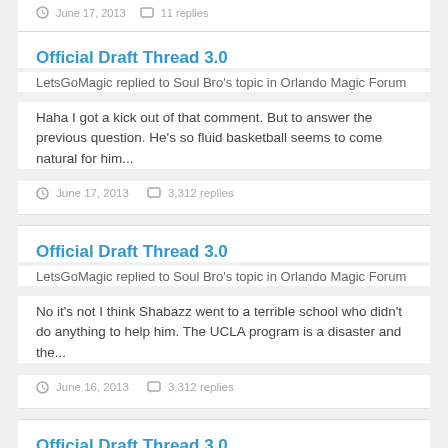June 17, 2013   11 replies
Official Draft Thread 3.0
LetsGoMagic replied to Soul Bro's topic in Orlando Magic Forum
Haha I got a kick out of that comment. But to answer the previous question. He's so fluid basketball seems to come natural for him...
June 17, 2013   3,312 replies
Official Draft Thread 3.0
LetsGoMagic replied to Soul Bro's topic in Orlando Magic Forum
No it's not I think Shabazz went to a terrible school who didn't do anything to help him. The UCLA program is a disaster and the...
June 16, 2013   3,312 replies
Official Draft Thread 3.0